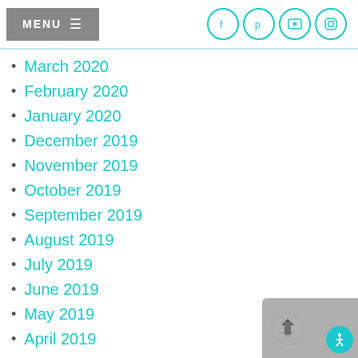MENU — [social icons: Facebook, Pinterest, YouTube, Instagram]
March 2020
February 2020
January 2020
December 2019
November 2019
October 2019
September 2019
August 2019
July 2019
June 2019
May 2019
April 2019